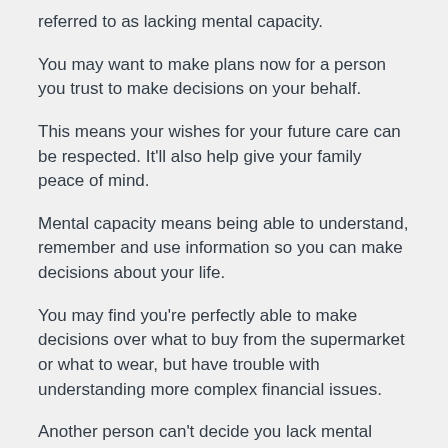referred to as lacking mental capacity.
You may want to make plans now for a person you trust to make decisions on your behalf.
This means your wishes for your future care can be respected. It'll also help give your family peace of mind.
Mental capacity means being able to understand, remember and use information so you can make decisions about your life.
You may find you're perfectly able to make decisions over what to buy from the supermarket or what to wear, but have trouble with understanding more complex financial issues.
Another person can't decide you lack mental capacity because they think you have made a bad or strange decision.